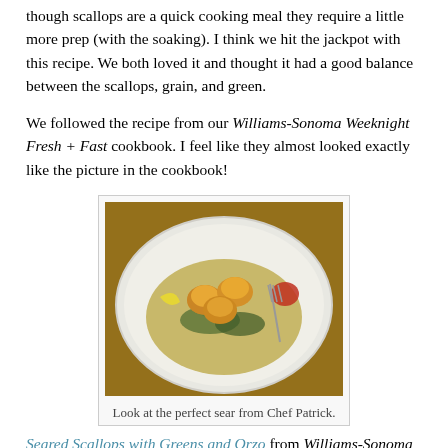though scallops are a quick cooking meal they require a little more prep (with the soaking). I think we hit the jackpot with this recipe. We both loved it and thought it had a good balance between the scallops, grain, and green.
We followed the recipe from our Williams-Sonoma Weeknight Fresh + Fast cookbook. I feel like they almost looked exactly like the picture in the cookbook!
[Figure (photo): A white plate with seared scallops on top of orzo with greens, garnished with lemon, tomato, and a fork. Wooden table background.]
Look at the perfect sear from Chef Patrick.
Seared Scallops with Greens and Orzo from Williams-Sonoma Weeknight Fresh and Fast